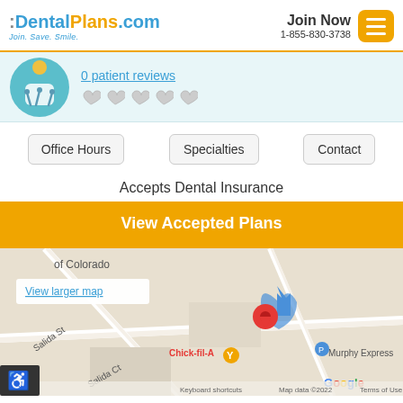:DentalPlans.com Join. Save. Smile. | Join Now 1-855-830-3738
[Figure (logo): Dental provider profile icon — teal circle with dental tools illustration]
0 patient reviews
Office Hours | Specialties | Contact
Accepts Dental Insurance
View Accepted Plans
[Figure (map): Google Maps showing location near Salida St with a red pin marker, Chick-fil-A and Murphy Express visible nearby. 'View larger map' link shown. Map data ©2022.]